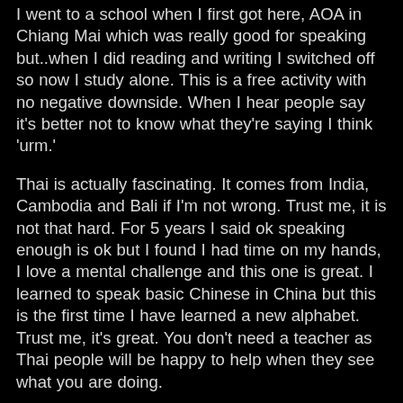I went to a school when I first got here, AOA in Chiang Mai which was really good for speaking but..when I did reading and writing I switched off so now I study alone. This is a free activity with no negative downside. When I hear people say it's better not to know what they're saying I think 'urm.'
Thai is actually fascinating. It comes from India, Cambodia and Bali if I'm not wrong. Trust me, it is not that hard. For 5 years I said ok speaking enough is ok but I found I had time on my hands, I love a mental challenge and this one is great. I learned to speak basic Chinese in China but this is the first time I have learned a new alphabet. Trust me, it's great. You don't need a teacher as Thai people will be happy to help when they see what you are doing.